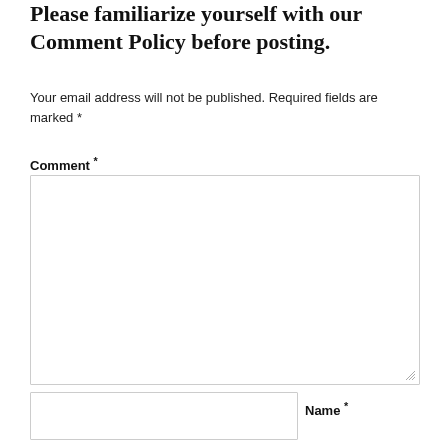Please familiarize yourself with our Comment Policy before posting.
Your email address will not be published. Required fields are marked *
Comment *
Name *